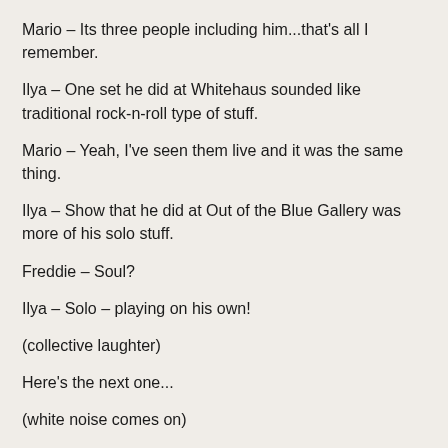Mario – Its three people including him...that's all I remember.
Ilya – One set he did at Whitehaus sounded like traditional rock-n-roll type of stuff.
Mario – Yeah, I've seen them live and it was the same thing.
Ilya – Show that he did at Out of the Blue Gallery was more of his solo stuff.
Freddie – Soul?
Ilya – Solo – playing on his own!
(collective laughter)
Here's the next one...
(white noise comes on)
Oops....no, not this! Harsh noise wall.
(collective laughter again)
Acosta (Living Room Session)